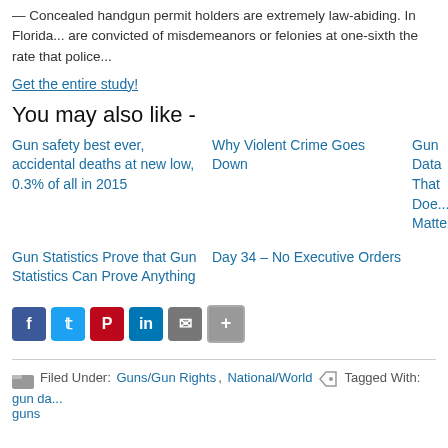— Concealed handgun permit holders are extremely law-abiding. In Florida... are convicted of misdemeanors or felonies at one-sixth the rate that police...
Get the entire study!
You may also like -
Gun safety best ever, accidental deaths at new low, 0.3% of all in 2015
Why Violent Crime Goes Down
Gun Data That Doe... Matter
Gun Statistics Prove that Gun Statistics Can Prove Anything
Day 34 – No Executive Orders
[Figure (infographic): Social sharing icons: Facebook, Twitter, Pinterest, LinkedIn, Email, Share]
Filed Under: Guns/Gun Rights, National/World   Tagged With: gun da... guns